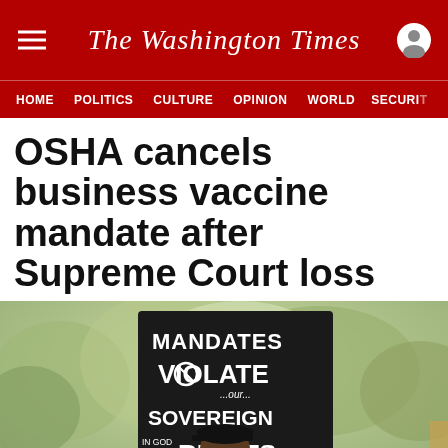The Washington Times
HOME  POLITICS  CULTURE  OPINION  WORLD  SECURI
OSHA cancels business vaccine mandate after Supreme Court loss
[Figure (photo): A protest demonstrator holding a large black sign with white hand-lettered text reading 'MANDATES VIOLATE ...OUR... SOVEREIGN RIGHTS 1776' and smaller text 'IN GOD ...WE... TRUST!' on the left side. The person is wearing a black cap and sunglasses. The background shows blurred trees.]